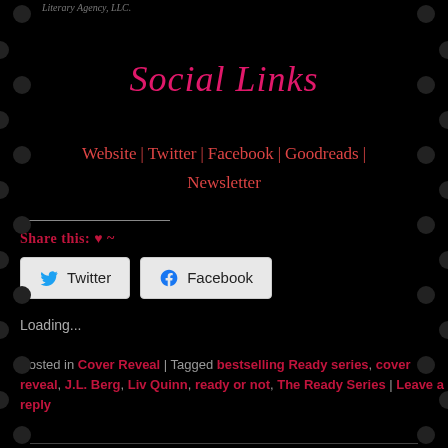Literary Agency, LLC.
Social Links
Website | Twitter | Facebook | Goodreads | Newsletter
Share this: ♥ ~
Twitter  Facebook
Loading...
Posted in Cover Reveal | Tagged bestselling Ready series, cover reveal, J.L. Berg, Liv Quinn, ready or not, The Ready Series | Leave a reply